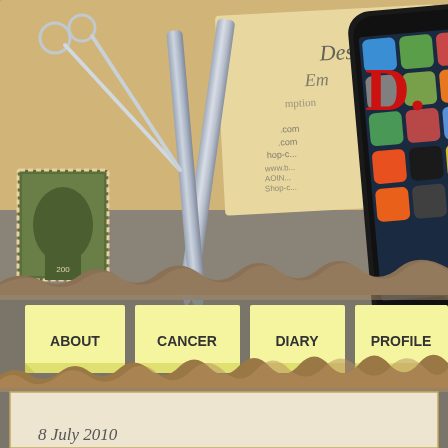[Figure (illustration): Website screenshot/banner showing a desk scene with an iPhone displaying apps, pens, scissors, a postage stamp, business cards, all on a kraft paper background. Navigation menu with yellow sticky notes labeled ABOUT, CANCER, DIARY, PROFILE. Bottom shows a cream notebook area. Partial red text 'D.' visible top right. Date '8 July 2010' at bottom.]
D.
ABOUT
CANCER
DIARY
PROFILE
8 July 2010